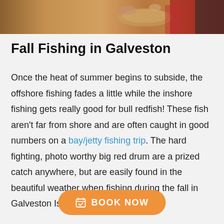[Figure (photo): Photo strip at top showing people holding fish on a boat, partial view cropped at bottom]
Fall Fishing in Galveston
Once the heat of summer begins to subside, the offshore fishing fades a little while the inshore fishing gets really good for bull redfish! These fish aren't far from shore and are often caught in good numbers on a bay/jetty fishing trip. The hard fighting, photo worthy big red drum are a prized catch anywhere, but are easily found in the beautiful weather when fishing during the fall in Galveston Island.